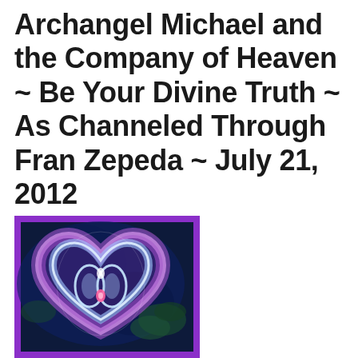Archangel Michael and the Company of Heaven ~ Be Your Divine Truth ~ As Channeled Through Fran Zepeda ~ July 21, 2012
[Figure (illustration): An illustration with a purple border showing a glowing heart shape made of light swirls in purple, pink, blue and white hues on a dark blue background, with an infinity-like symbol in the center.]